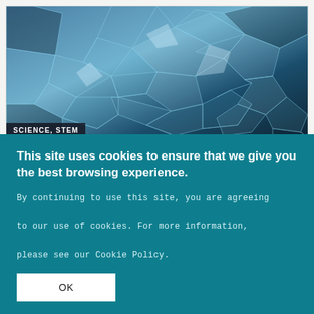[Figure (photo): Close-up macro photo of shattered or cracked blue-tinted glass with complex fracture patterns filling the frame]
SCIENCE, STEM
Grades 9-12
Crash Course!
How do we protect the things and people we care about from collisions?
This site uses cookies to ensure that we give you the best browsing experience.
By continuing to use this site, you are agreeing to our use of cookies. For more information, please see our Cookie Policy.
OK